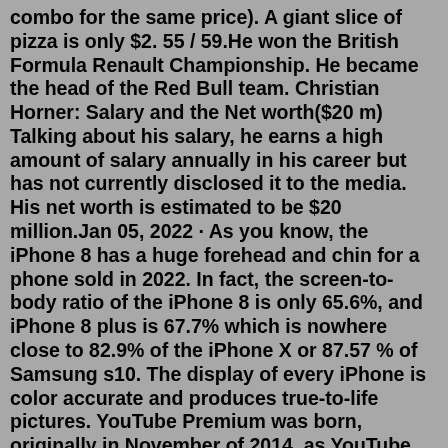combo for the same price). A giant slice of pizza is only $2. 55 / 59.He won the British Formula Renault Championship. He became the head of the Red Bull team. Christian Horner: Salary and the Net worth($20 m) Talking about his salary, he earns a high amount of salary annually in his career but has not currently disclosed it to the media. His net worth is estimated to be $20 million.Jan 05, 2022 · As you know, the iPhone 8 has a huge forehead and chin for a phone sold in 2022. In fact, the screen-to-body ratio of the iPhone 8 is only 65.6%, and iPhone 8 plus is 67.7% which is nowhere close to 82.9% of the iPhone X or 87.57 % of Samsung s10. The display of every iPhone is color accurate and produces true-to-life pictures. YouTube Premium was born, originally in November of 2014, as YouTube Red. It was rebranded a few years later (in 2018) as YouTube Premium. ... you can get ad-free YouTube, which is honestly worth it.Jul 22, 2022 · For some,. Hairy Amateur Women Pics HairyAmateurP is a porn site on which you will find hairy women…We have collected for you the